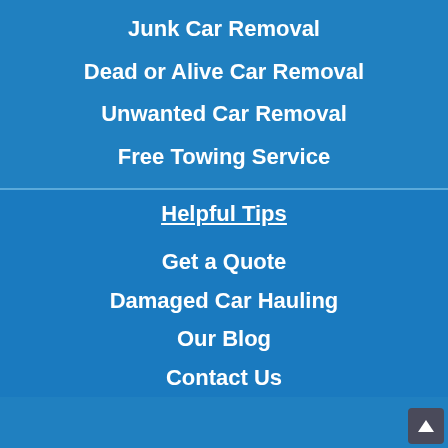Junk Car Removal
Dead or Alive Car Removal
Unwanted Car Removal
Free Towing Service
Helpful Tips
Get a Quote
Damaged Car Hauling
Our Blog
Contact Us